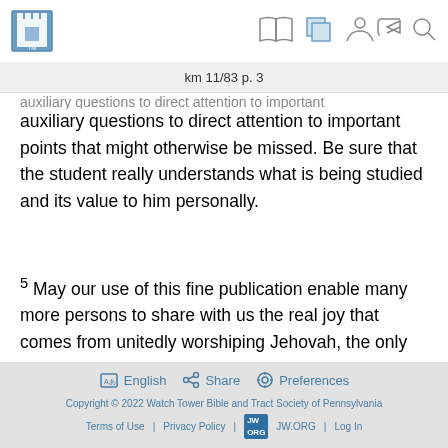[Figure (logo): JW.ORG tower logo and navigation icons (book, copy, person, share, search)]
km 11/83 p. 3
auxiliary questions to direct attention to important points that might otherwise be missed. Be sure that the student really understands what is being studied and its value to him personally.
5 May our use of this fine publication enable many more persons to share with us the real joy that comes from unitedly worshiping Jehovah, the only true God.
English  Share  Preferences
Copyright © 2022 Watch Tower Bible and Tract Society of Pennsylvania
Terms of Use | Privacy Policy | JW ORG | Log In